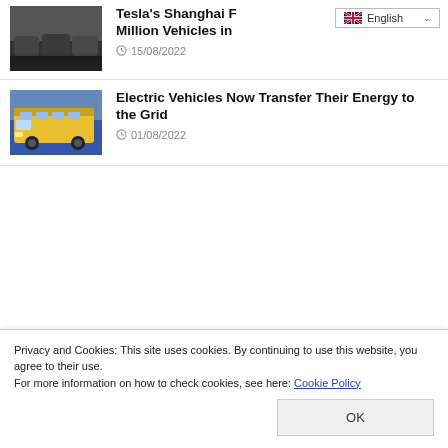Tesla's Shanghai F... Million Vehicles in ...
15/08/2022
Electric Vehicles Now Transfer Their Energy to the Grid
01/08/2022
Privacy and Cookies: This site uses cookies. By continuing to use this website, you agree to their use.
For more information on how to check cookies, see here: Cookie Policy
OK